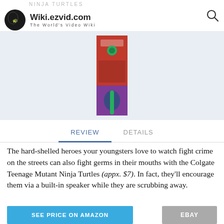NINJA TURTLES — Wiki.ezvid.com The World's Video Wiki
[Figure (photo): Product image of Colgate Teenage Mutant Ninja Turtles toothbrush in red/purple packaging against a light blue background]
REVIEW | DETAILS
The hard-shelled heroes your youngsters love to watch fight crime on the streets can also fight germs in their mouths with the Colgate Teenage Mutant Ninja Turtles (appx. $7). In fact, they'll encourage them via a built-in speaker while they are scrubbing away.
SEE PRICE ON AMAZON
EBAY